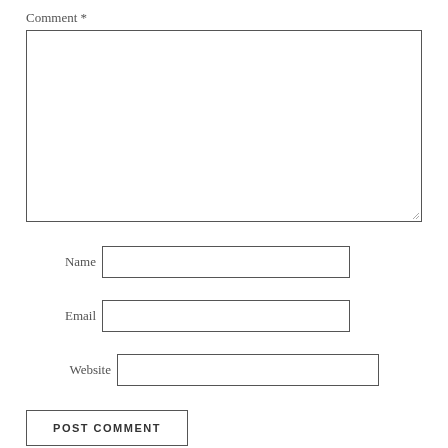Comment *
[Figure (other): Large empty comment textarea with resize handle at bottom right]
Name
[Figure (other): Name input field]
Email
[Figure (other): Email input field]
Website
[Figure (other): Website input field]
POST COMMENT